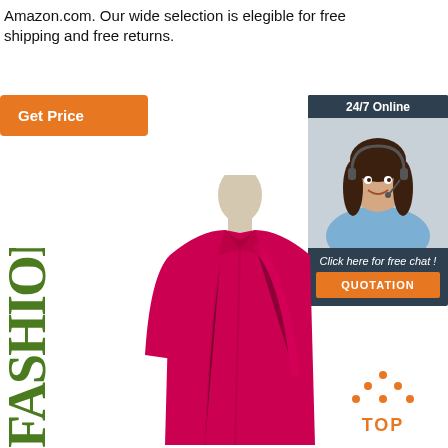Amazon.com. Our wide selection is elegible for free shipping and free returns.
[Figure (other): Orange 'Get Price' button]
[Figure (other): 24/7 Online chat widget with customer service representative photo and 'Click here for free chat!' text and orange QUOTATION button]
[Figure (photo): Red/magenta long-sleeve dress shirt on a mannequin/dress form]
[Figure (other): Partial text 'FASHION' in large green serif font along the left side]
[Figure (other): Orange 'TOP' button with dot triangle icon]